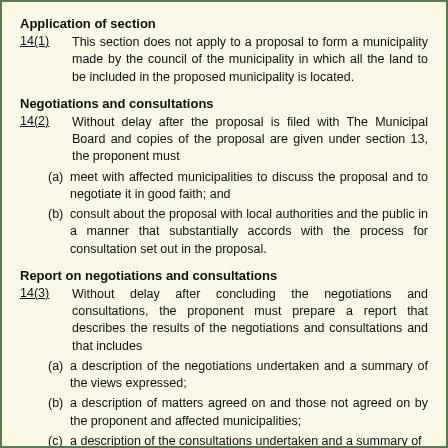Application of section
14(1)	This section does not apply to a proposal to form a municipality made by the council of the municipality in which all the land to be included in the proposed municipality is located.
Negotiations and consultations
14(2)	Without delay after the proposal is filed with The Municipal Board and copies of the proposal are given under section 13, the proponent must
(a) meet with affected municipalities to discuss the proposal and to negotiate it in good faith; and
(b) consult about the proposal with local authorities and the public in a manner that substantially accords with the process for consultation set out in the proposal.
Report on negotiations and consultations
14(3)	Without delay after concluding the negotiations and consultations, the proponent must prepare a report that describes the results of the negotiations and consultations and that includes
(a) a description of the negotiations undertaken and a summary of the views expressed;
(b) a description of matters agreed on and those not agreed on by the proponent and affected municipalities;
(c) a description of the consultations undertaken and a summary of